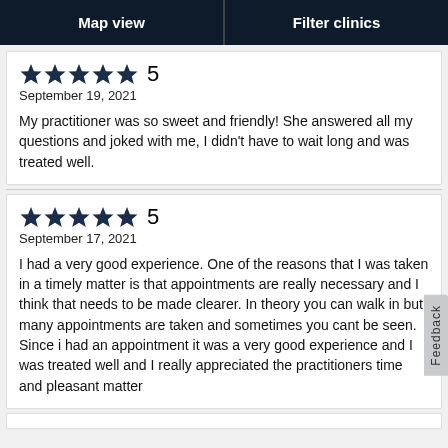[Figure (screenshot): Navigation bar with Map view and Filter clinics buttons]
★★★★★  5
September 19, 2021
My practitioner was so sweet and friendly! She answered all my questions and joked with me, I didn't have to wait long and was treated well.
★★★★★  5
September 17, 2021
I had a very good experience. One of the reasons that I was taken in a timely matter is that appointments are really necessary and I think that needs to be made clearer. In theory you can walk in but many appointments are taken and sometimes you cant be seen. Since i had an appointment it was a very good experience and I was treated well and I really appreciated the practitioners time and pleasant matter